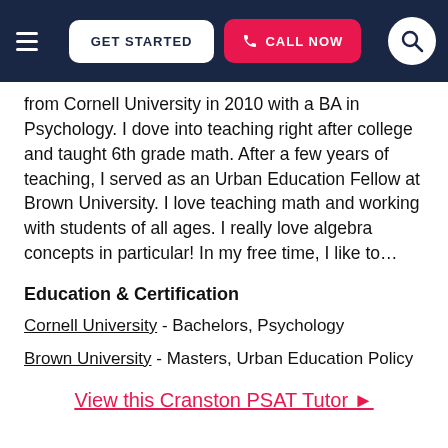GET STARTED | CALL NOW
from Cornell University in 2010 with a BA in Psychology. I dove into teaching right after college and taught 6th grade math. After a few years of teaching, I served as an Urban Education Fellow at Brown University. I love teaching math and working with students of all ages. I really love algebra concepts in particular! In my free time, I like to…
Education & Certification
Cornell University - Bachelors, Psychology
Brown University - Masters, Urban Education Policy
View this Cranston PSAT Tutor ▶